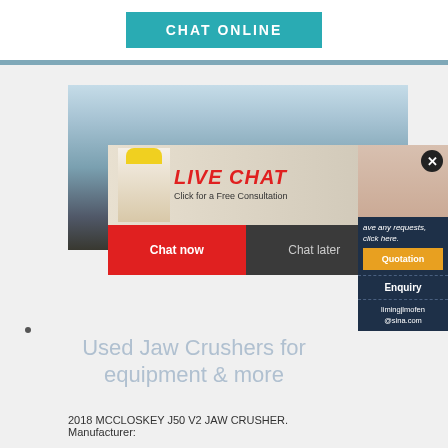[Figure (screenshot): CHAT ONLINE teal button at top of webpage]
[Figure (screenshot): Construction site image with excavator and workers in yellow hard hats; overlaid with a LIVE CHAT popup showing 'Click for a Free Consultation', 'Chat now' red button, 'Chat later' dark button; right side panel with customer service representative photo, Quotation button, Enquiry link, and email limingjlmofen@sina.com]
Used Jaw Crushers for equipment & more
2018 MCCLOSKEY J50 V2 JAW CRUSHER. Manufacturer: